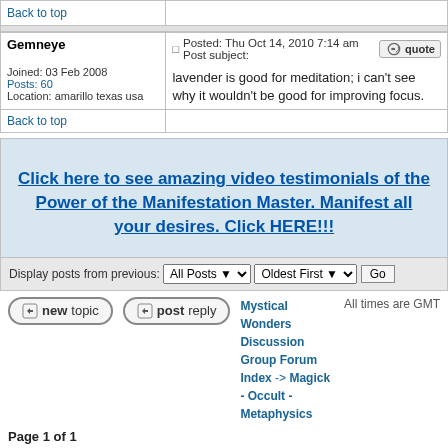| User | Post |
| --- | --- |
| [Back to top] |  |
| Gemneye

Joined: 03 Feb 2008
Posts: 60
Location: amarillo texas usa | Posted: Thu Oct 14, 2010 7:14 am    Post subject:
lavender is good for meditation; i can't see why it wouldn't be good for improving focus. |
| [Back to top] |  |
[Figure (other): Advertisement banner: Click here to see amazing video testimonials of the Power of the Manifestation Master. Manifest all your desires. Click HERE!!!]
Display posts from previous: All Posts  Oldest First  Go
newtopic  postreply  Mystical Wonders Discussion Group Forum Index -> Magick - Occult - Metaphysics  All times are GMT
Page 1 of 1